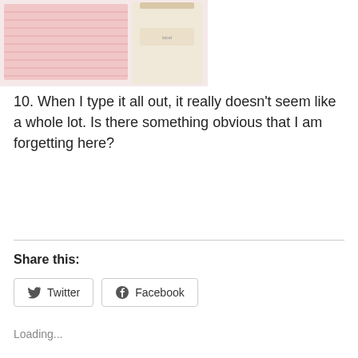[Figure (photo): Photo of pink knitted/sequined fabric and a cream/beige drawstring bag with a label, clothing items laid out]
10. When I type it all out, it really doesn't seem like a whole lot. Is there something obvious that I am forgetting here?
Share this:
Twitter   Facebook
Loading...